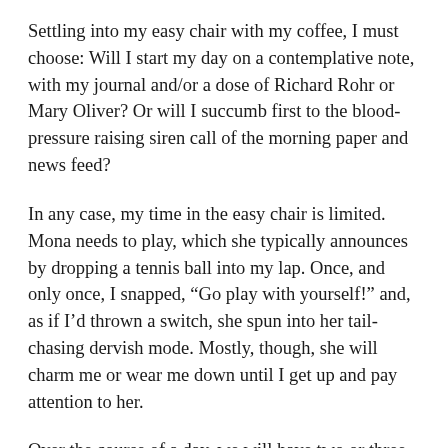Settling into my easy chair with my coffee, I must choose: Will I start my day on a contemplative note, with my journal and/or a dose of Richard Rohr or Mary Oliver? Or will I succumb first to the blood-pressure raising siren call of the morning paper and news feed?
In any case, my time in the easy chair is limited. Mona needs to play, which she typically announces by dropping a tennis ball into my lap. Once, and only once, I snapped, “Go play with yourself!” and, as if I’d thrown a switch, she spun into her tail-chasing dervish mode. Mostly, though, she will charm me or wear me down until I get up and pay attention to her.
Over the course of a day, we will have two or three sessions of chase-the-ball-down-the-hall; a couple of trips outdoors to harass chipmunks or race around with a nearly flat basketball that she scavenged from the woods gripped in her teeth; not to mention the four walks on a leash, poop bag in hand. The